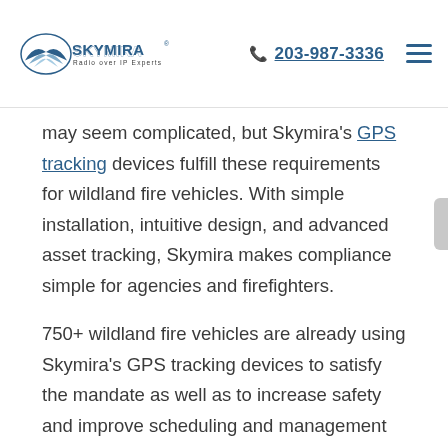SkyMira Radio over IP Experts | 203-987-3336
may seem complicated, but Skymira's GPS tracking devices fulfill these requirements for wildland fire vehicles. With simple installation, intuitive design, and advanced asset tracking, Skymira makes compliance simple for agencies and firefighters.
750+ wildland fire vehicles are already using Skymira's GPS tracking devices to satisfy the mandate as well as to increase safety and improve scheduling and management workflow.
Skymira combines state of the art equipment